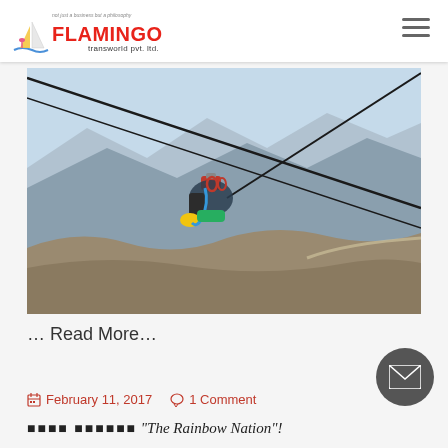Flamingo Transworld Pvt. Ltd.
[Figure (photo): Person on a zipline suspended over a rocky mountain landscape with hazy mountains in background]
… Read More…
February 11, 2017  1 Comment
"The Rainbow Nation"!